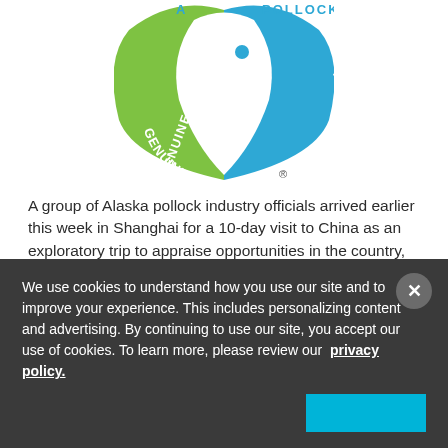[Figure (logo): Genuine Alaska Pollock (GAPP) logo — shield shape with blue and green fish halves, text 'GENUINE' on green side and 'POLLOCK' on blue side, with registered trademark symbol]
A group of Alaska pollock industry officials arrived earlier this week in Shanghai for a 10-day visit to China as an exploratory trip to appraise opportunities in the country, according to a Genuine Alaska Pollock Producers (GAPP) press release.
The tour, sponsored in large part by a grant from the Emerging
We use cookies to understand how you use our site and to improve your experience. This includes personalizing content and advertising. By continuing to use our site, you accept our use of cookies. To learn more, please review our privacy policy.